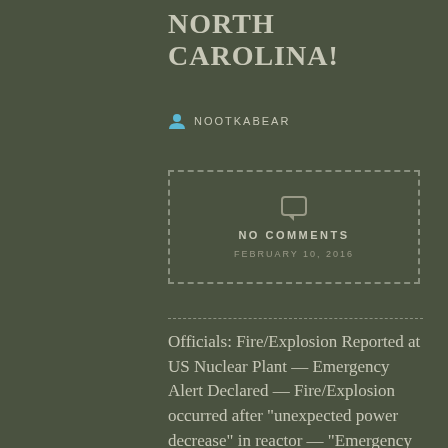NORTH CAROLINA!
NOOTKABEAR
[Figure (infographic): Dashed border box with comment icon, 'NO COMMENTS' text, and date 'FEBRUARY 10, 2016']
Officials: Fire/Explosion Reported at US Nuclear Plant — Emergency Alert Declared — Fire/Explosion occurred after "unexpected power decrease" in reactor — "Emergency response facilities staffed" — "Abnormal event with